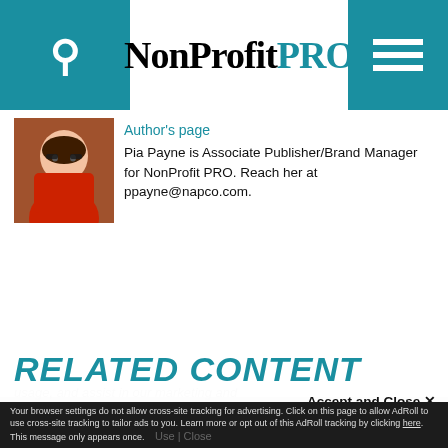NonProfit PRO
Author's page
Pia Payne is Associate Publisher/Brand Manager for NonProfit PRO. Reach her at ppayne@napco.com.
RELATED CONTENT
This site uses cookies for tracking purposes. By continuing to browse our website, you agree to the storing of first- and third-party cookies on your device to enhance site navigation, analyze site usage, and assist in our marketing and
Accept and Close ✕
Your browser settings do not allow cross-site tracking for advertising. Click on this page to allow AdRoll to use cross-site tracking to tailor ads to you. Learn more or opt out of this AdRoll tracking by clicking here. This message only appears once.